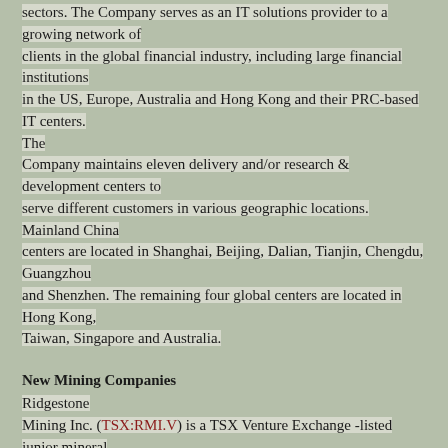sectors. The Company serves as an IT solutions provider to a growing network of clients in the global financial industry, including large financial institutions in the US, Europe, Australia and Hong Kong and their PRC-based IT centers. The Company maintains eleven delivery and/or research & development centers to serve different customers in various geographic locations. Mainland China centers are located in Shanghai, Beijing, Dalian, Tianjin, Chengdu, Guangzhou and Shenzhen. The remaining four global centers are located in Hong Kong, Taiwan, Singapore and Australia.
New Mining Companies
Ridgestone Mining Inc. (TSX:RMI.V) is a TSX Venture Exchange -listed junior mineral exploration company with offices in Taipei and Vancouver, B.C. The Company's focus is on precious metals and copper in Sonora, Mexico, and specifically the Rebeico Gold-Copper project.
The directories are not meant as recommendations but as a research tool to discover opportunities and trading ideas in a particular sector.